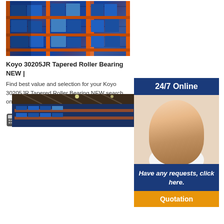[Figure (photo): Warehouse shelving with blue metal racks stocked with orange and blue product boxes]
Koyo 30205JR Tapered Roller Bearing NEW |
Find best value and selection for your Koyo 30205JR Tapered Roller Bearing NEW search on eBay. World's leading marketplace.
[Figure (infographic): 24/7 Online banner with customer service representative wearing headset, Have any requests click here text, and Quotation button]
GET PRICE BY E-MAIL
[Figure (photo): Interior of large warehouse with high ceiling and shelves stocked with blue boxes]